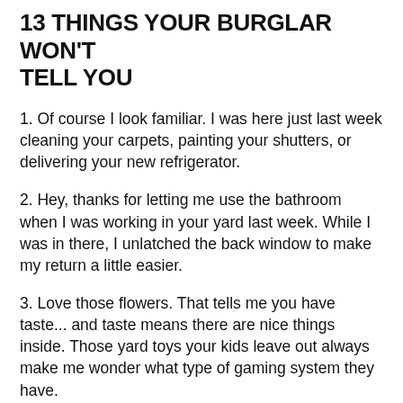13 THINGS YOUR BURGLAR WON'T TELL YOU
1. Of course I look familiar. I was here just last week cleaning your carpets, painting your shutters, or delivering your new refrigerator.
2. Hey, thanks for letting me use the bathroom when I was working in your yard last week. While I was in there, I unlatched the back window to make my return a little easier.
3. Love those flowers. That tells me you have taste... and taste means there are nice things inside. Those yard toys your kids leave out always make me wonder what type of gaming system they have.
4. Yes, I really do look for newspapers piled up on the driveway. And I might leave a pizza flyer in your front door to see how long it takes you to remove it.